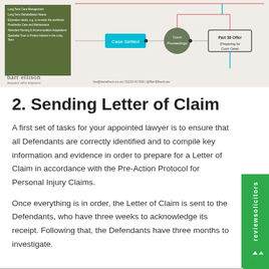[Figure (flowchart): Barr Ellison law firm flowchart showing personal injury claim process steps including Case Settled, Court Proceedings, and Part 36 Offer stages. Green box on left lists items. Branding and contact info at bottom.]
2. Sending Letter of Claim
A first set of tasks for your appointed lawyer is to ensure that all Defendants are correctly identified and to compile key information and evidence in order to prepare for a Letter of Claim in accordance with the Pre-Action Protocol for Personal Injury Claims.
Once everything is in order, the Letter of Claim is sent to the Defendants, who have three weeks to acknowledge its receipt. Following that, the Defendants have three months to investigate.